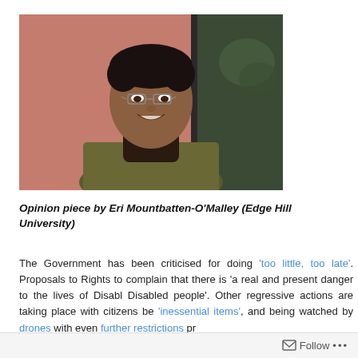[Figure (photo): Portrait photo of Eri Mountbatten-O'Malley, a man with short curly dark hair and glasses, wearing a dark turtleneck and olive/brown blazer, smiling, against a warm brick-toned background.]
Opinion piece by Eri Mountbatten-O'Malley (Edge Hill University)
The Government has been criticised for doing 'too little, too late'. Proposals to Rights to complain that there is 'a real and present danger to the lives of Disabled people'. Other regressive actions are taking place with citizens being 'inessential items', and being watched by drones with even further restrictions pro...
Follow ...